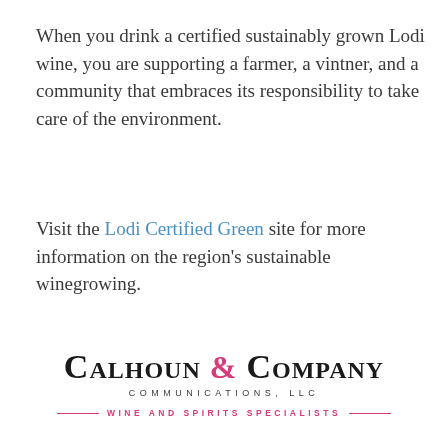When you drink a certified sustainably grown Lodi wine, you are supporting a farmer, a vintner, and a community that embraces its responsibility to take care of the environment.
Visit the Lodi Certified Green site for more information on the region's sustainable winegrowing.
[Figure (logo): Calhoun & Company Communications, LLC logo with tagline 'Wine and Spirits Specialists']